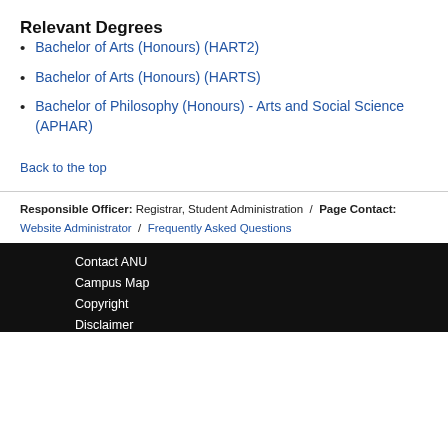Relevant Degrees
Bachelor of Arts (Honours) (HART2)
Bachelor of Arts (Honours) (HARTS)
Bachelor of Philosophy (Honours) - Arts and Social Science (APHAR)
Back to the top
Responsible Officer: Registrar, Student Administration / Page Contact: Website Administrator / Frequently Asked Questions
Contact ANU
Campus Map
Copyright
Disclaimer